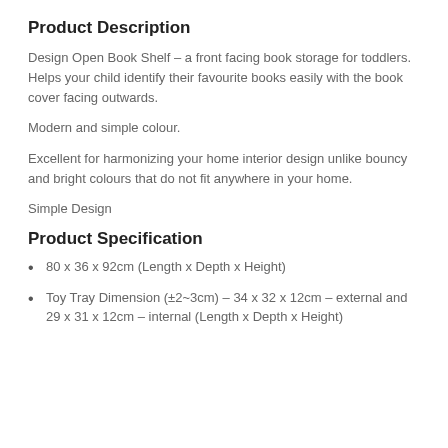Product Description
Design Open Book Shelf – a front facing book storage for toddlers. Helps your child identify their favourite books easily with the book cover facing outwards.
Modern and simple colour.
Excellent for harmonizing your home interior design unlike bouncy and bright colours that do not fit anywhere in your home.
Simple Design
Product Specification
80 x 36 x 92cm (Length x Depth x Height)
Toy Tray Dimension (±2~3cm) – 34 x 32 x 12cm – external and 29 x 31 x 12cm – internal (Length x Depth x Height)